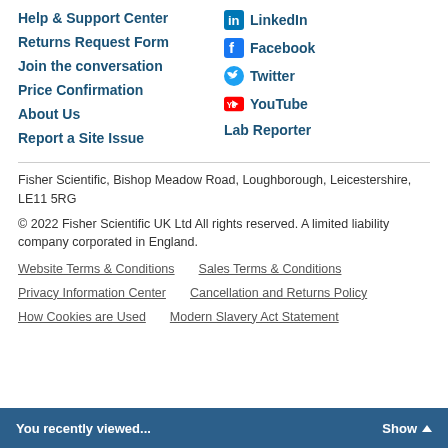Help & Support Center
Returns Request Form
Join the conversation
Price Confirmation
About Us
Report a Site Issue
LinkedIn
Facebook
Twitter
YouTube
Lab Reporter
Fisher Scientific, Bishop Meadow Road, Loughborough, Leicestershire, LE11 5RG
© 2022 Fisher Scientific UK Ltd All rights reserved. A limited liability company corporated in England.
Website Terms & Conditions   Sales Terms & Conditions   Privacy Information Center   Cancellation and Returns Policy   How Cookies are Used   Modern Slavery Act Statement
You recently viewed...   Show ▲